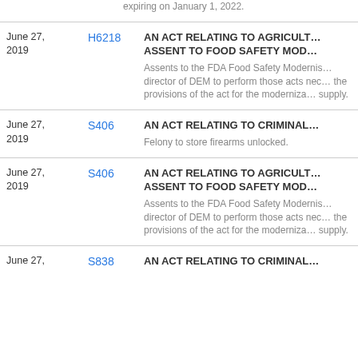expiring on January 1, 2022.
| Date | Bill | Title/Description |
| --- | --- | --- |
| June 27, 2019 | H6218 | AN ACT RELATING TO AGRICULTURE AND FORESTRY -- ASSENT TO FOOD SAFETY MODERNIZATION ACT / Assents to the FDA Food Safety Modernization Act and authorizes the director of DEM to perform those acts necessary to implement the provisions of the act for the modernization of the food supply. |
| June 27, 2019 | S406 | AN ACT RELATING TO CRIMINAL OFFENSES -- FIREARMS / Felony to store firearms unlocked. |
| June 27, 2019 | S406 | AN ACT RELATING TO AGRICULTURE -- ASSENT TO FOOD SAFETY MODERNIZATION ACT / Assents to the FDA Food Safety Modernization Act and authorizes the director of DEM to perform those acts necessary to implement the provisions of the act for the modernization of the food supply. |
| June 27, | S838 | AN ACT RELATING TO CRIMINAL OFFENSES -- |